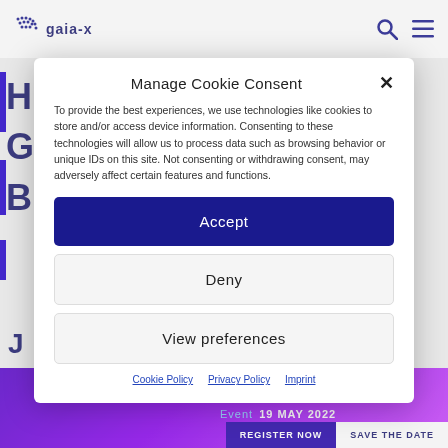[Figure (screenshot): Gaia-X website navigation bar with logo, search icon, and hamburger menu icon]
Manage Cookie Consent
To provide the best experiences, we use technologies like cookies to store and/or access device information. Consenting to these technologies will allow us to process data such as browsing behavior or unique IDs on this site. Not consenting or withdrawing consent, may adversely affect certain features and functions.
Accept
Deny
View preferences
Cookie Policy   Privacy Policy   Imprint
[Figure (screenshot): Bottom purple banner showing Event 19 MAY 2022 with REGISTER NOW and SAVE THE DATE buttons]